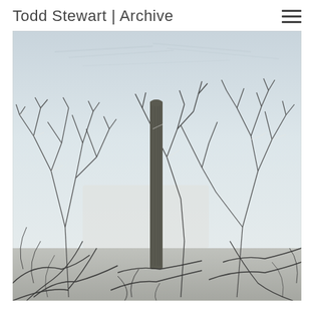Todd Stewart | Archive
[Figure (photo): Black and white photograph of a desert landscape featuring a tall saguaro cactus in the center, surrounded by bare, sprawling desert shrubs and trees with sparse foliage, against a light sky with faint cloud streaks.]